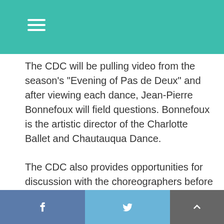The CDC will be pulling video from the season's "Evening of Pas de Deux" and after viewing each dance, Jean-Pierre Bonnefoux will field questions. Bonnefoux is the artistic director of the Charlotte Ballet and Chautauqua Dance.
The CDC also provides opportunities for discussion with the choreographers before certain performances throughout the season.
“One of the wonderful things about this format is that it allows for discussion after you’ve seen the piece,” CDC Treasurer Jim Dakin said. “At all of our normal pre-performance lectures, we talk about them before you’ve seen them and quite often, seeing a piece raises [questions that] late good discussion.”